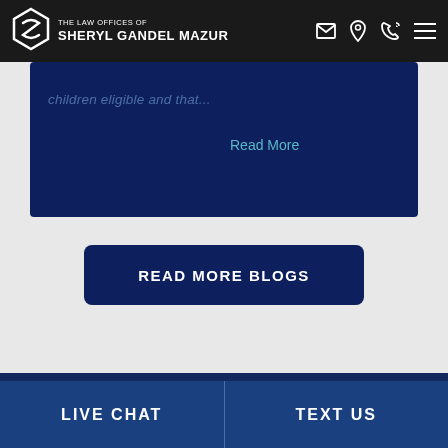The Law Offices of Sheryl Gandel Mazur
children eligible and that...
Read More
READ MORE BLOGS
LIVE CHAT
TEXT US